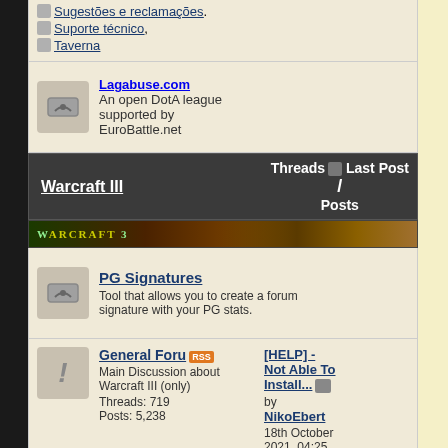Sugestões e reclamações
Suporte técnico
Taverna
Lagabuse.com — An open DotA league supported by EuroBattle.net
Warcraft III | Threads / Posts | Last Post
[Figure (screenshot): Warcraft 3 banner image]
PG Signatures — Tool that allows you to create a forum signature with your PG stats.
| Forum | Threads/Posts | Last Post |
| --- | --- | --- |
| General Forum (RSS) — Main Discussion about Warcraft III (only) | Threads: 719 Posts: 5,238 | [HELP] - Not able To Install... by NikoEbert 18th October 2021, 04:25 PM |
| Clan Forums (RSS) (6 Viewing) — Wanna create your own clan forum? Make sure... | Threads: 208 Posts: 60,179 | Main Discussion by IceBird |